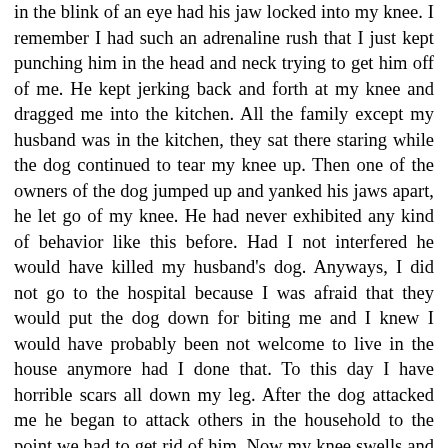in the blink of an eye had his jaw locked into my knee. I remember I had such an adrenaline rush that I just kept punching him in the head and neck trying to get him off of me. He kept jerking back and forth at my knee and dragged me into the kitchen. All the family except my husband was in the kitchen, they sat there staring while the dog continued to tear my knee up. Then one of the owners of the dog jumped up and yanked his jaws apart, he let go of my knee. He had never exhibited any kind of behavior like this before. Had I not interfered he would have killed my husband's dog. Anyways, I did not go to the hospital because I was afraid that they would put the dog down for biting me and I knew I would have probably been not welcome to live in the house anymore had I done that. To this day I have horrible scars all down my leg. After the dog attacked me he began to attack others in the household to the point we had to get rid of him. Now my knee swells and I'm intimidated anytime I go around a dog I hardly know. I am not against pits, either. Even though this horrible experience happened to me I later learned the owner's wife had flicked him in the nose repeatedly when he was smaller as a joke (which she also did to her chihuahua who was pretty aggressive when he was younger). Now I can not